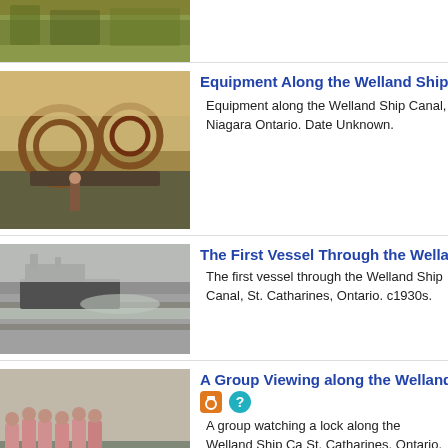[Figure (photo): Top partial image of landscape/field, cropped at top of page]
[Figure (photo): Equipment along the Welland Ship Canal, large machinery/dredging equipment visible]
Equipment Along the Welland Ship Canal
Equipment along the Welland Ship Canal, Niagara Ontario. Date Unknown.
[Figure (photo): The first vessel through the Welland Ship Canal, black and white photo showing ship in canal]
The First Vessel Through the Welland Canal
The first vessel through the Welland Ship Canal, St. Catharines, Ontario. c1930s.
[Figure (photo): A group of women in pink dresses watching a lock along the Welland Ship Canal]
A Group Viewing along the Welland Ship Canal
A group watching a lock along the Welland Ship Canal, St. Catharines, Ontario. Date Unknown. The group is possibly watching from Lock 3 along the Welland Canal